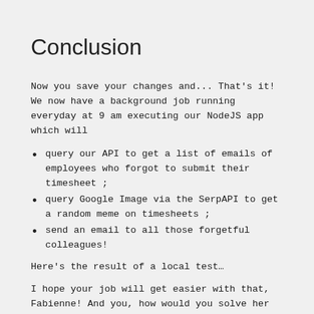Conclusion
Now you save your changes and... That's it! We now have a background job running everyday at 9 am executing our NodeJS app which will
query our API to get a list of emails of employees who forgot to submit their timesheet ;
query Google Image via the SerpAPI to get a random meme on timesheets ;
send an email to all those forgetful colleagues!
Here's the result of a local test…
I hope your job will get easier with that, Fabienne! And you, how would you solve her problem?Tell us on our social media!